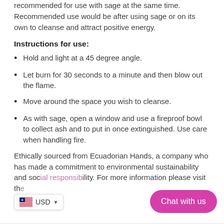recommended for use with sage at the same time. Recommended use would be after using sage or on its own to cleanse and attract positive energy.
Instructions for use:
Hold and light at a 45 degree angle.
Let burn for 30 seconds to a minute and then blow out the flame.
Move around the space you wish to cleanse.
As with sage, open a window and use a fireproof bowl to collect ash and to put in once extinguished. Use care when handling fire.
Ethically sourced from Ecuadorian Hands, a company who has made a commitment to environmental sustainability and social responsibility. For more information please visit th...